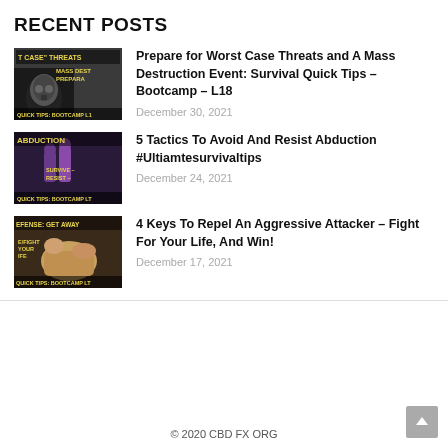RECENT POSTS
Prepare for Worst Case Threats and A Mass Destruction Event: Survival Quick Tips – Bootcamp – L18
5 Tactics To Avoid And Resist Abduction #Ultiamtesurvivaltips
4 Keys To Repel An Aggressive Attacker – Fight For Your Life, And Win!
© 2020 CBD FX ORG